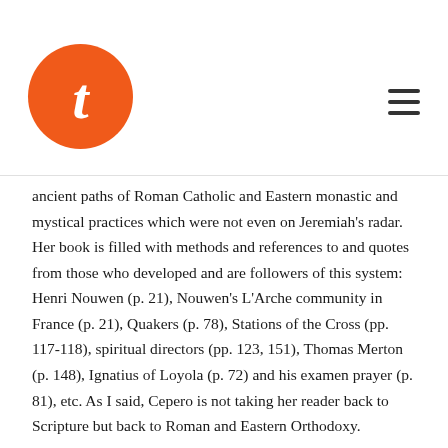[Figure (logo): Orange circle logo with white italic T letter, and hamburger menu icon on the right]
ancient paths of Roman Catholic and Eastern monastic and mystical practices which were not even on Jeremiah's radar. Her book is filled with methods and references to and quotes from those who developed and are followers of this system: Henri Nouwen (p. 21), Nouwen's L'Arche community in France (p. 21), Quakers (p. 78), Stations of the Cross (pp. 117-118), spiritual directors (pp. 123, 151), Thomas Merton (p. 148), Ignatius of Loyola (p. 72) and his examen prayer (p. 81), etc. As I said, Cepero is not taking her reader back to Scripture but back to Roman and Eastern Orthodoxy.
In addition, we find many troubling statements and practices throughout: Yoga (pp. 16, 62), “God comes to the place where we are and says our name” (p. 31), “God our beloved, born of a